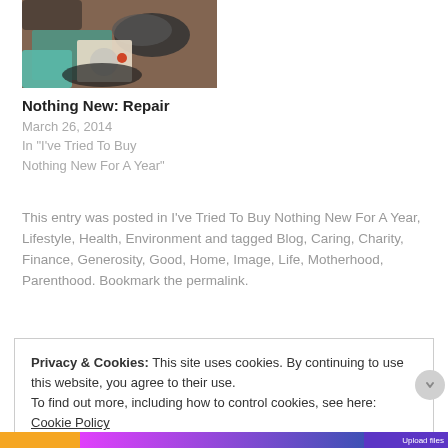[Figure (photo): Photo of shoes and clothing items on a wooden floor surface]
Nothing New: Repair
March 26, 2014
In "I've Tried To Buy Nothing New For A Year"
This entry was posted in I've Tried To Buy Nothing New For A Year, Lifestyle, Health, Environment and tagged Blog, Caring, Charity, Finance, Generosity, Good, Home, Image, Life, Motherhood, Parenthood. Bookmark the permalink.
Privacy & Cookies: This site uses cookies. By continuing to use this website, you agree to their use.
To find out more, including how to control cookies, see here: Cookie Policy